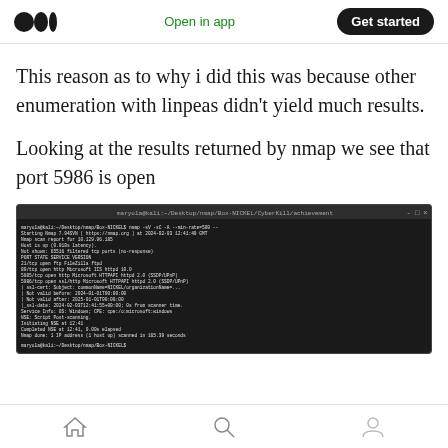Medium logo | Open in app | Get started
This reason as to why i did this was because other enumeration with linpeas didn't yield much results.
Looking at the results returned by nmap we see that port 5986 is open
[Figure (screenshot): Terminal screenshot showing nmap scan results with port 5986 open, dark background with white monospace text]
Home | Search | Profile navigation icons